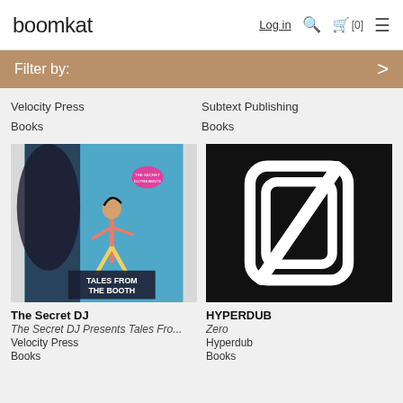boomkat | Log in [0]
Filter by: >
Velocity Press
Books
Subtext Publishing
Books
[Figure (illustration): Book cover for 'Tales From The Booth' showing illustrated figure with colorful background]
[Figure (logo): HYPERDUB logo: a slashed zero/O symbol in white on black background]
The Secret DJ
The Secret DJ Presents Tales Fro...
Velocity Press
Books
HYPERDUB
Zero
Hyperdub
Books